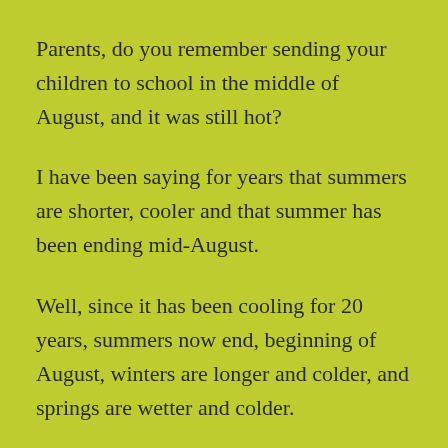Parents, do you remember sending your children to school in the middle of August, and it was still hot?
I have been saying for years that summers are shorter, cooler and that summer has been ending mid-August.
Well, since it has been cooling for 20 years, summers now end, beginning of August, winters are longer and colder, and springs are wetter and colder.
The weather forecast is for a return to the 90s